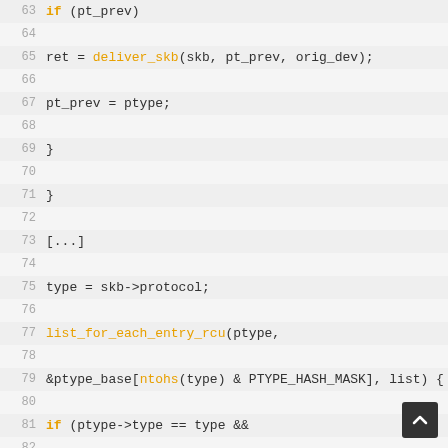[Figure (screenshot): Source code listing showing C code lines 63-92 with line numbers, featuring keywords and function names highlighted in orange on a light gray background.]